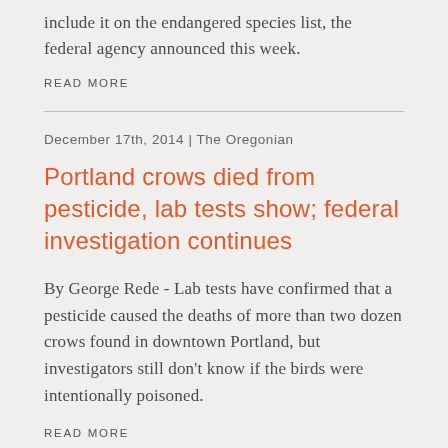include it on the endangered species list, the federal agency announced this week.
READ MORE
December 17th, 2014 | The Oregonian
Portland crows died from pesticide, lab tests show; federal investigation continues
By George Rede - Lab tests have confirmed that a pesticide caused the deaths of more than two dozen crows found in downtown Portland, but investigators still don't know if the birds were intentionally poisoned.
READ MORE